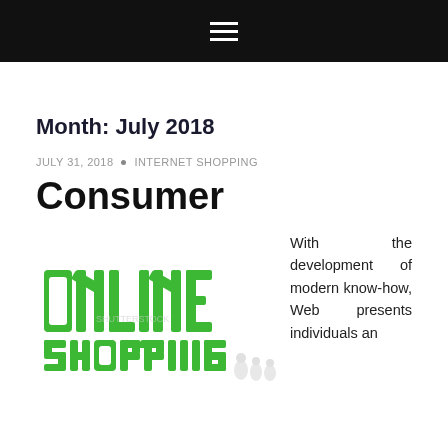☰
Month: July 2018
JULY 31, 2018  •  INTERNET SHOPPING
Consumer
[Figure (photo): 3D green block letters spelling ONLINE SHOPPING with small white figurines at the base]
With the development of modern know-how, Web presents individuals an